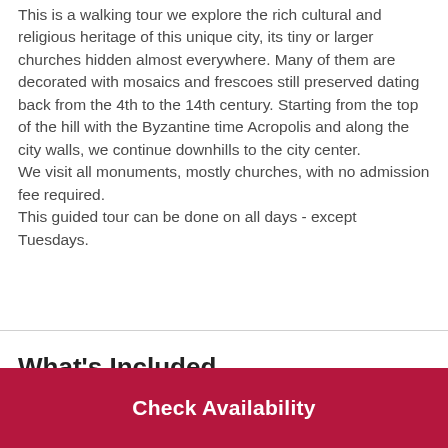This is a walking tour we explore the rich cultural and religious heritage of this unique city, its tiny or larger churches hidden almost everywhere. Many of them are decorated with mosaics and frescoes still preserved dating back from the 4th to the 14th century. Starting from the top of the hill with the Byzantine time Acropolis and along the city walls, we continue downhills to the city center.
We visit all monuments, mostly churches, with no admission fee required.
This guided tour can be done on all days - except Tuesdays.
What's Included
Check Availability